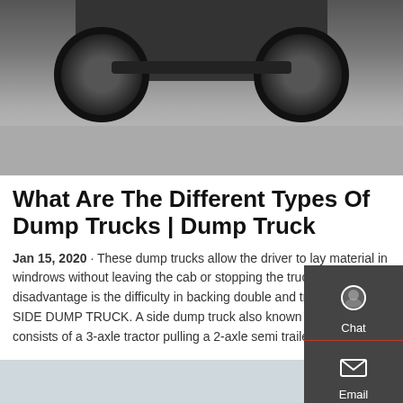[Figure (photo): Underside view of a dump truck showing wheels, axle and chassis from below, with pavement visible underneath]
What Are The Different Types Of Dump Trucks | Dump Truck
Jan 15, 2020 · These dump trucks allow the driver to lay material in windrows without leaving the cab or stopping the truck. The main disadvantage is the difficulty in backing double and triple units. SIDE DUMP TRUCK. A side dump truck also known as an SDT consists of a 3-axle tractor pulling a 2-axle semi trailer.
[Figure (screenshot): Side panel widget with Chat, Email, and Contact buttons on dark background]
GET A QUOTE
[Figure (photo): Bottom portion of page showing a light blue-grey image area]